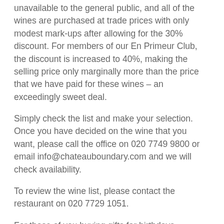unavailable to the general public, and all of the wines are purchased at trade prices with only modest mark-ups after allowing for the 30% discount. For members of our En Primeur Club, the discount is increased to 40%, making the selling price only marginally more than the price that we have paid for these wines – an exceedingly sweet deal.
Simply check the list and make your selection. Once you have decided on the wine that you want, please call the office on 020 7749 9800 or email info@chateauboundary.com and we will check availability.
To review the wine list, please contact the restaurant on 020 7729 1051.
For those of you buying gifts for birthdays, Christmas presents, special occasions, hello's or goodbye's, we can offer a range of wooden gift boxes and other wine paraphernalia that you may want to consider: